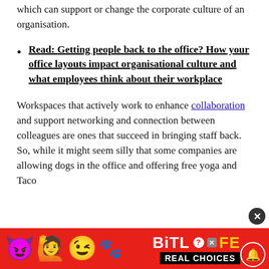which can support or change the corporate culture of an organisation.
Read: Getting people back to the office? How your office layouts impact organisational culture and what employees think about their workplace
Workspaces that actively work to enhance collaboration and support networking and connection between colleagues are ones that succeed in bringing staff back. So, while it might seem silly that some companies are allowing dogs in the office and offering free yoga and Taco
[Figure (other): Advertisement banner for BitLife mobile game with red background, emojis, and 'REAL CHOICES' text]